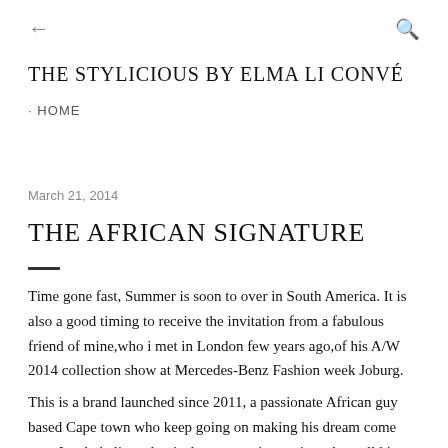← THE STYLICIOUS BY ELMA LI CONVÉ 🔍
· HOME
March 21, 2014
THE AFRICAN SIGNATURE
Time gone fast, Summer is soon to over in South America. It is also a good timing to receive the invitation from a fabulous friend of mine,who i met in London few years ago,of his A/W 2014 collection show at Mercedes-Benz Fashion week Joburg.
This is a brand launched since 2011, a passionate African guy based Cape town who keep going on making his dream come ture. I truly believe that is the mature time to introduce all his design to the